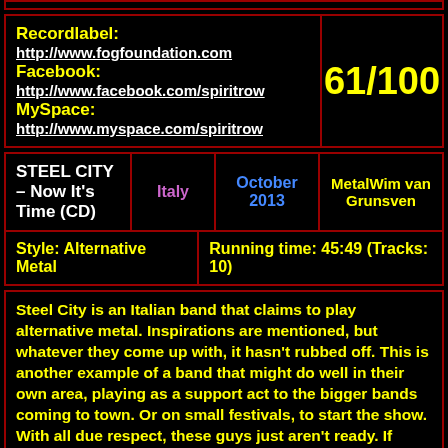| Recordlabel / Facebook / MySpace | Score |
| --- | --- |
| Recordlabel: http://www.fogfoundation.com
Facebook: http://www.facebook.com/spiritrow
MySpace: http://www.myspace.com/spiritrow | 61/100 |
| Album | Country | Date | Reviewer |
| --- | --- | --- | --- |
| STEEL CITY – Now It's Time (CD) | Italy | October 2013 | MetalWim van Grunsven |
| Style: Alternative Metal | Running time: 45:49 (Tracks: 10) |  |  |
Steel City is an Italian band that claims to play alternative metal. Inspirations are mentioned, but whatever they come up with, it hasn't rubbed off. This is another example of a band that might do well in their own area, playing as a support act to the bigger bands coming to town. Or on small festivals, to start the show. With all due respect, these guys just aren't ready. If every song was like No One's Guilty, they would have reeled me in without any problem. But they aren't. There are